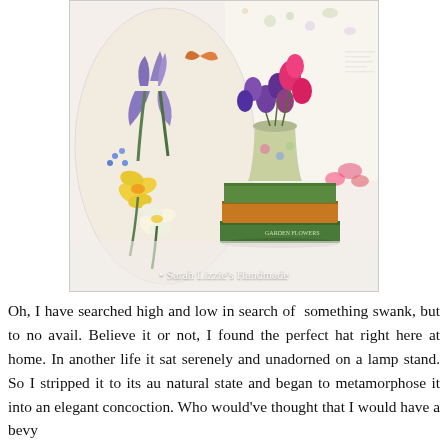[Figure (photo): A still life photograph showing a floral-patterned fabric or decoupage plate on the left with painted irises and daffodils, and a small floral-patterned pot holding pink and purple sweet peas flowers on the right, sitting atop a stack of green hardcover books. The background shows a white wall with floral botanical prints. A watermark reads 'Sarah Lizzie's Handmade'.]
Oh, I have searched high and low in search of  something swank, but to no avail. Believe it or not, I found the perfect hat right here at home. In another life it sat serenely and unadorned on a lamp stand. So I stripped it to its au natural state and began to metamorphose it into an elegant concoction. Who would've thought that I would have a bevy